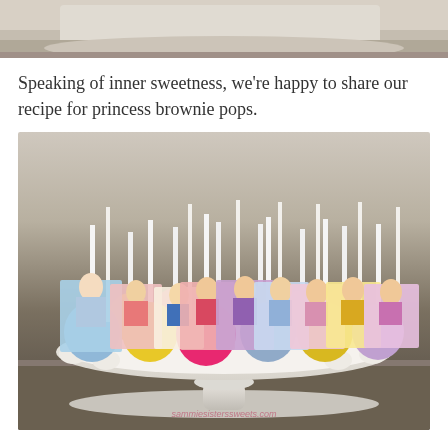[Figure (photo): Partial top image showing a decorative molding or cake pop detail, cropped at the top of the page]
Speaking of inner sweetness, we're happy to share our recipe for princess brownie pops.
[Figure (photo): Photo of Disney princess brownie pops on a white cake stand. Each pop is a round brownie dipped in colored candy coating (blue, yellow, pink, lavender) with a Disney princess card topper on a stick. Princesses visible include Elsa, Ariel, Snow White, Sofia, Cinderella, Aurora, Belle, and Rapunzel. Watermark reads sammiesisterssweets.com]